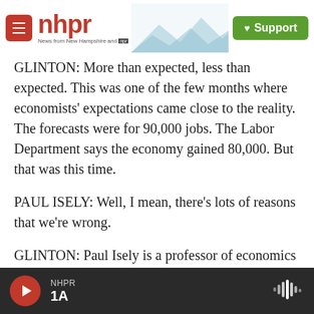nhpr — News from New Hampshire and NPR — Support
GLINTON: More than expected, less than expected. This was one of the few months where economists' expectations came close to the reality. The forecasts were for 90,000 jobs. The Labor Department says the economy gained 80,000. But that was this time.
PAUL ISELY: Well, I mean, there's lots of reasons that we're wrong.
GLINTON: Paul Isely is a professor of economics at Grand Valley State University.
NHPR 1A